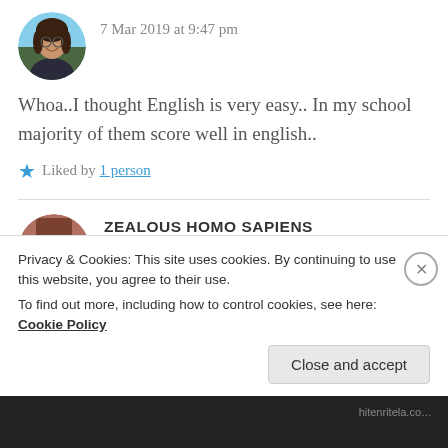7 Mar 2019 at 9:47 pm
Whoa..I thought English is very easy.. In my school majority of them score well in english..
Liked by 1 person
ZEALOUS HOMO SAPIENS
7 Mar 2019 at 9:58 pm
Privacy & Cookies: This site uses cookies. By continuing to use this website, you agree to their use.
To find out more, including how to control cookies, see here: Cookie Policy
Close and accept